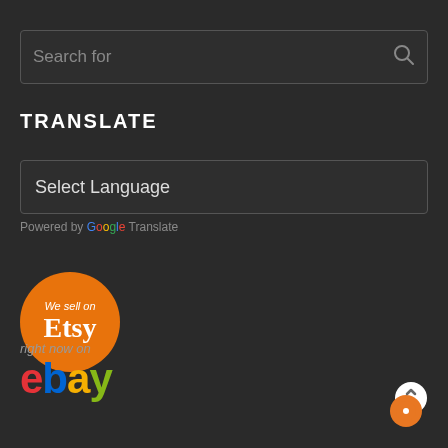[Figure (screenshot): Search bar with placeholder text 'Search for' and a search icon on the right, on a dark background]
TRANSLATE
[Figure (screenshot): Language select dropdown box with text 'Select Language' on dark background]
Powered by Google Translate
[Figure (logo): Orange circle logo with 'We sell on Etsy' text]
right now on
[Figure (logo): eBay logo in multicolor letters: red e, blue b, yellow a, green y]